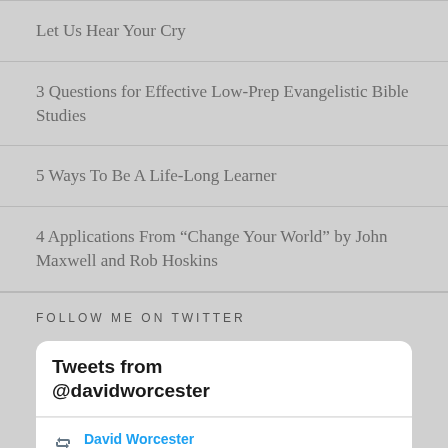Let Us Hear Your Cry
3 Questions for Effective Low-Prep Evangelistic Bible Studies
5 Ways To Be A Life-Long Learner
4 Applications From “Change Your World” by John Maxwell and Rob Hoskins
FOLLOW ME ON TWITTER
[Figure (screenshot): Twitter widget showing 'Tweets from @davidworcester' header and a 'David Worcester Retweeted' entry below]